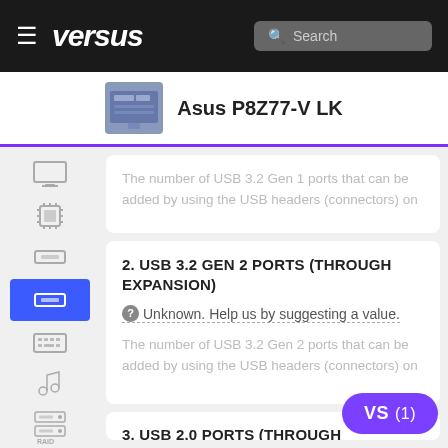versus — Search
Asus P8Z77-V LK
The number of USB 3.2 Gen 1 ports that can be added by using the USB headers (connectors) on
2. USB 3.2 GEN 2 PORTS (THROUGH EXPANSION)
Unknown. Help us by suggesting a value.
The number of USB 3.2 Gen 2 ports that can be added by using the USB headers (connectors) on
3. USB 2.0 PORTS (THROUGH EXPANSION)
8